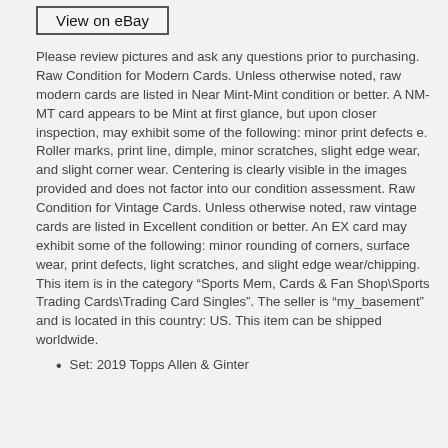[Figure (screenshot): View on eBay button — a bordered rectangle with the text 'View on eBay' inside]
Please review pictures and ask any questions prior to purchasing. Raw Condition for Modern Cards. Unless otherwise noted, raw modern cards are listed in Near Mint-Mint condition or better. A NM-MT card appears to be Mint at first glance, but upon closer inspection, may exhibit some of the following: minor print defects e. Roller marks, print line, dimple, minor scratches, slight edge wear, and slight corner wear. Centering is clearly visible in the images provided and does not factor into our condition assessment. Raw Condition for Vintage Cards. Unless otherwise noted, raw vintage cards are listed in Excellent condition or better. An EX card may exhibit some of the following: minor rounding of corners, surface wear, print defects, light scratches, and slight edge wear/chipping. This item is in the category “Sports Mem, Cards & Fan Shop\Sports Trading Cards\Trading Card Singles”. The seller is “my_basement” and is located in this country: US. This item can be shipped worldwide.
Set: 2019 Topps Allen & Ginter